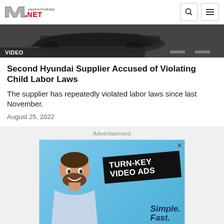Manufacturing.net
[Figure (screenshot): Video thumbnail showing blurred vehicle, with VIDEO label overlay]
Second Hyundai Supplier Accused of Violating Child Labor Laws
The supplier has repeatedly violated labor laws since last November.
August 25, 2022
[Figure (photo): Advertisement showing a man with text TURN-KEY VIDEO ADS, Simple. Fast. Effective.]